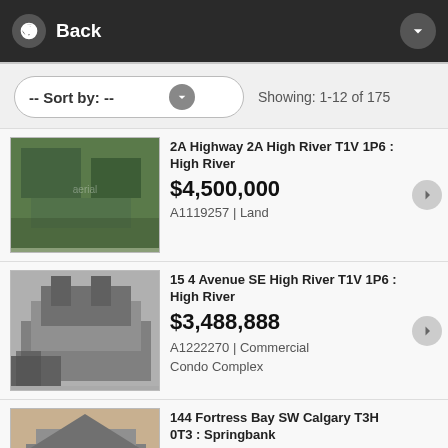Back
-- Sort by: --   Showing: 1-12 of 175
2A Highway 2A High River T1V 1P6 : High River
$4,500,000
A1119257 | Land
15 4 Avenue SE High River T1V 1P6 : High River
$3,488,888
A1222270 | Commercial Condo Complex
144 Fortress Bay SW Calgary T3H 0T3 : Springbank
$2,490,000
A1234897 | Residential
5 bds, 5 bths, 2013, 4,345 sq. ft.
107 Mahogany Landing SE Calgary T3M 1X5 : Mahogany
$2,490,000